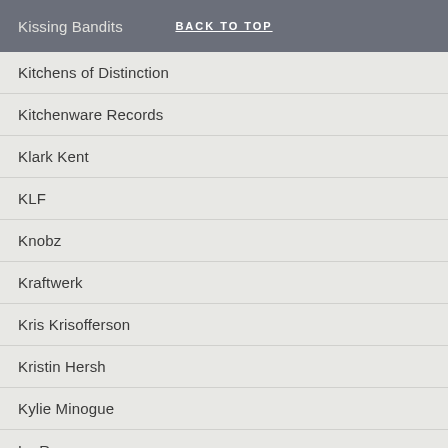Kissing Bandits | BACK TO TOP
Kitchens of Distinction
Kitchenware Records
Klark Kent
KLF
Knobz
Kraftwerk
Kris Krisofferson
Kristin Hersh
Kylie Minogue
La Roux
La's
Ladyhawke